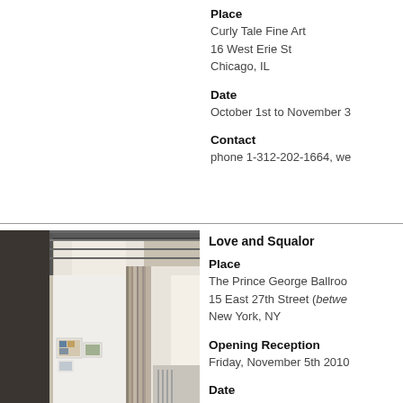Place
Curly Tale Fine Art
16 West Erie St
Chicago, IL
Date
October 1st to November 3...
Contact
phone 1-312-202-1664, we...
[Figure (photo): Interior of an art gallery showing white walls, exposed ceiling with metal beams, stone pillar, and framed artwork hung on walls]
Love and Squalor
Place
The Prince George Ballroo...
15 East 27th Street (betwe...
New York, NY
Opening Reception
Friday, November 5th 2010...
Date
November 3rd to Novembe...